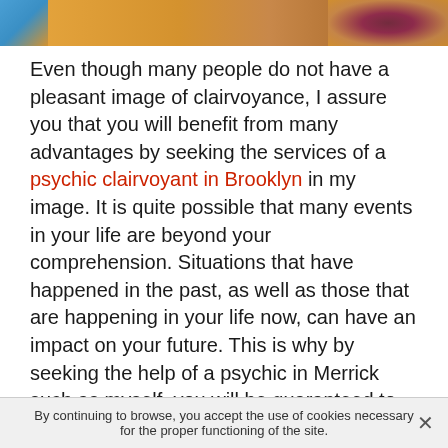[Figure (photo): Partial image showing warm orange/tan background with flowers on the right and a blue element on the top left corner]
Even though many people do not have a pleasant image of clairvoyance, I assure you that you will benefit from many advantages by seeking the services of a psychic clairvoyant in Brooklyn in my image. It is quite possible that many events in your life are beyond your comprehension. Situations that have happened in the past, as well as those that are happening in your life now, can have an impact on your future. This is why by seeking the help of a psychic in Merrick such as myself, you will be guaranteed to find peace of mind in all aspects of your life in order to identify the various obscure or misunderstood situations you are going through.
It is not easy to find a trusted psychic in Merrick. Many of them today are not at all serious and take advantage of
By continuing to browse, you accept the use of cookies necessary for the proper functioning of the site.